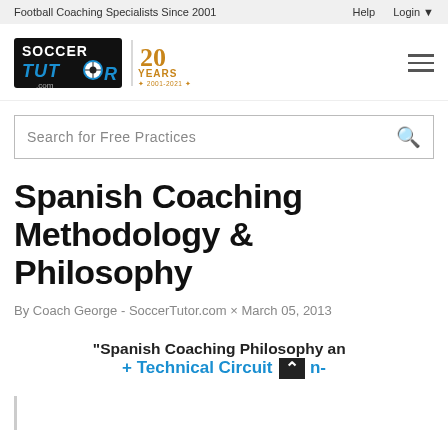Football Coaching Specialists Since 2001
[Figure (logo): SoccerTutor.com logo with '20 Years 2001-2021' badge]
Search for Free Practices
Spanish Coaching Methodology & Philosophy
By Coach George - SoccerTutor.com × March 05, 2013
"Spanish Coaching Philosophy and... + Technical Circuit ..."